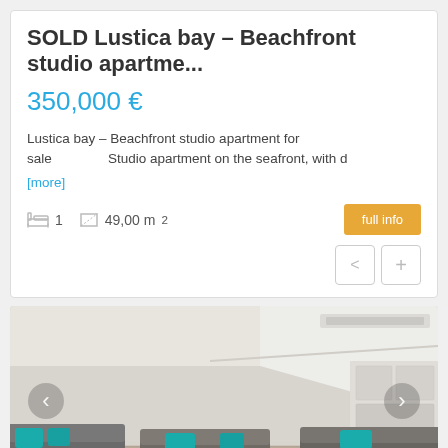SOLD Lustica bay – Beachfront studio apartme...
350,000 €
Lustica bay – Beachfront studio apartment for sale    Studio apartment on the seafront, with d
[more]
1   49,00 m²
[Figure (photo): Interior photo of a beachfront studio apartment showing a living area with grey sofas and teal/turquoise cushions, light walls, and a modern kitchen area visible in the background.]